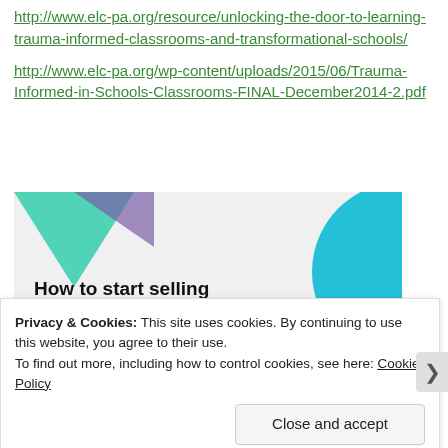http://www.elc-pa.org/resource/unlocking-the-door-to-learning-trauma-informed-classrooms-and-transformational-schools/
http://www.elc-pa.org/wp-content/uploads/2015/06/Trauma-Informed-in-Schools-Classrooms-FINAL-December2014-2.pdf
[Figure (infographic): Advertisement banner with teal and blue geometric shapes and text 'How to start selling subscriptions online' with a purple button.]
Privacy & Cookies: This site uses cookies. By continuing to use this website, you agree to their use.
To find out more, including how to control cookies, see here: Cookie Policy
Close and accept